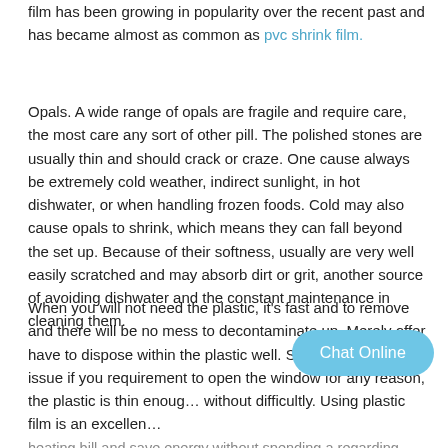film has been growing in popularity over the recent past and has became almost as common as pvc shrink film.
Opals. A wide range of opals are fragile and require care, the most care any sort of other pill. The polished stones are usually thin and should crack or craze. One cause always be extremely cold weather, indirect sunlight, in hot dishwater, or when handling frozen foods. Cold may also cause opals to shrink, which means they can fall beyond the set up. Because of their softness, usually are very well easily scratched and may absorb dirt or grit, another source of avoiding dishwater and the constant maintenance in cleaning them.
When you will not need the plastic, it’s fast and to remove and there will be no mess to decontaminate up. Merely offer have to dispose within the plastic well. Safety is not an issue if you requirement to open the window for any reason, the plastic is thin enoug… without difficultly. Using plastic film is an excellen… heating bill and save energy without spending a regarding money.